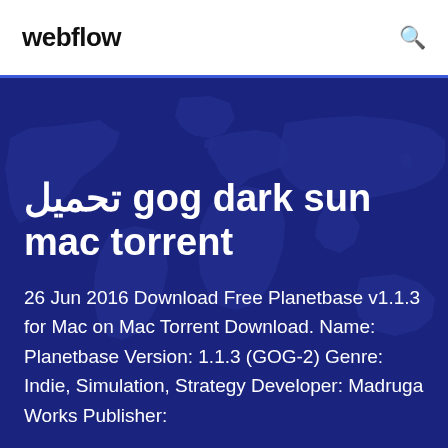webflow
تحميل gog dark sun mac torrent
26 Jun 2016 Download Free Planetbase v1.1.3 for Mac on Mac Torrent Download. Name: Planetbase Version: 1.1.3 (GOG-2) Genre: Indie, Simulation, Strategy Developer: Madruga Works Publisher: